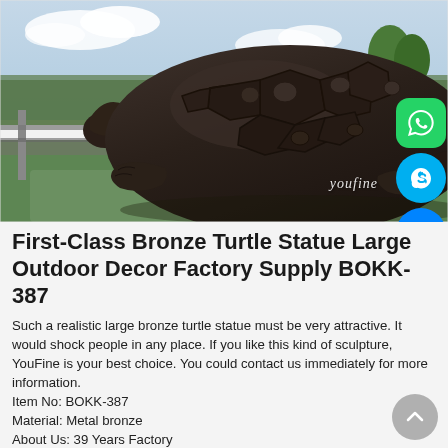[Figure (photo): Large bronze turtle statue photographed outdoors. The dark brown/bronze sculptural turtle is massive, shown from a low angle. It stands on a green/grey paved surface with a green fence, trees and cloudy sky in the background. Social media icons (WhatsApp, Skype, Messenger) are overlaid on the right side. A 'youfine' watermark appears at the bottom right of the image.]
First-Class Bronze Turtle Statue Large Outdoor Decor Factory Supply BOKK-387
Such a realistic large bronze turtle statue must be very attractive. It would shock people in any place. If you like this kind of sculpture, YouFine is your best choice. You could contact us immediately for more information.
Item No: BOKK-387
Material: Metal bronze
About Us: 39 Years Factory
Technique: Lost Wax Process